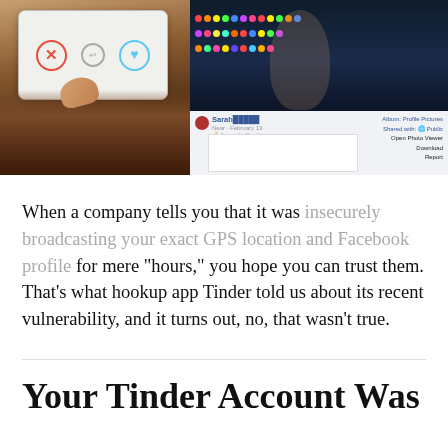[Figure (screenshot): Screenshot showing a Tinder app interface on a phone being held in a hand (left) and a Facebook profile page with a photo of a woman with Mardi Gras beads (right). The Facebook panel shows a user named Sarah, a date of February 13, and options including Open Photo Viewer, Download, and Report.]
When a company tells you that it was insecurely broadcasting your exact GPS location and Facebook profile for mere "hours," you hope you can trust them. That's what hookup app Tinder told us about its recent vulnerability, and it turns out, no, that wasn't true.
Your Tinder Account Was